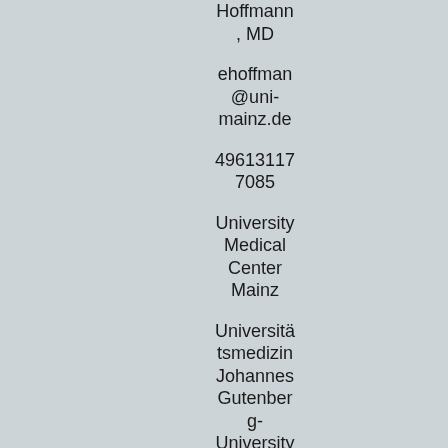Hoffmann, MD
ehoffman@uni-mainz.de
496131177085
University Medical Center Mainz
Universitätsmedizin Johannes Gutenberg-University
Mainz
Rheinland-Pfalz
Germany
Professor